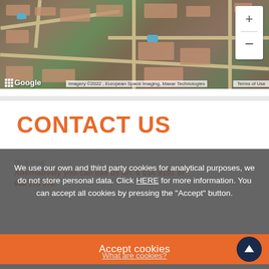[Figure (screenshot): Google Maps satellite view of a residential area with roads, buildings, swimming pools. Map controls (+/-) visible on top right. Google logo and attribution at bottom left. Attribution reads: Imagery ©2022, European Space Imaging, Maxar Technologies | Terms of Use]
CONTACT US
We use our own and third party cookies for analytical purposes, we do not store personal data. Click HERE for more information. You can accept all cookies by pressing the "Accept" button.
Accept cookies
What are cookies?